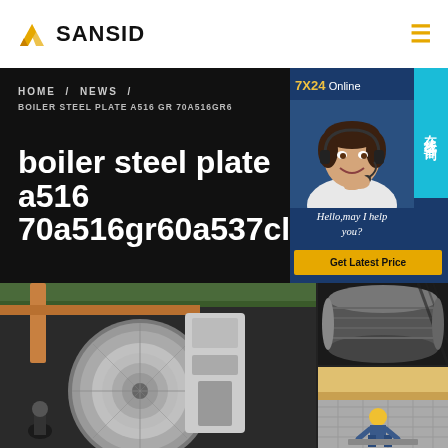SANSID
HOME / NEWS / BOILER STEEL PLATE A516 GR 70A516GR6
boiler steel plate a516 70a516gr60a537cl1
[Figure (photo): Customer service representative with headset, 7X24 Online chat support panel with 'Hello, may I help you?' and 'Get Latest Price' button]
[Figure (photo): Industrial factory floor showing large steel plate/disc manufacturing equipment with crane and industrial machinery]
[Figure (photo): Large cylindrical steel structure in factory setting]
[Figure (photo): Worker in factory working on steel fabrication]